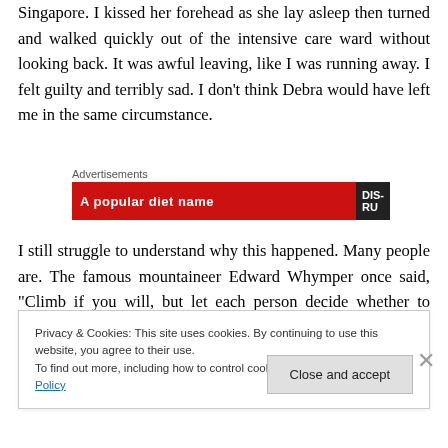Singapore. I kissed her forehead as she lay asleep then turned and walked quickly out of the intensive care ward without looking back. It was awful leaving, like I was running away. I felt guilty and terribly sad. I don't think Debra would have left me in the same circumstance.
Advertisements
[Figure (other): Red advertisement banner with white bold text and a black logo area reading DIS-RU]
I still struggle to understand why this happened. Many people are. The famous mountaineer Edward Whymper once said, "Climb if you will, but remember that courage and strength are naught without prudence..."
Privacy & Cookies: This site uses cookies. By continuing to use this website, you agree to their use.
To find out more, including how to control cookies, see here: Cookie Policy